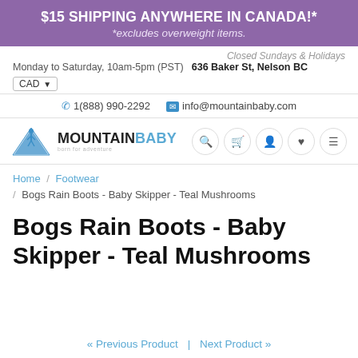$15 SHIPPING ANYWHERE IN CANADA!* *excludes overweight items.
Closed Sundays & Holidays
Monday to Saturday, 10am-5pm (PST)   636 Baker St, Nelson BC
CAD
📞 1(888) 990-2292  ✉ info@mountainbaby.com
[Figure (logo): Mountain Baby logo with blue mountain/hiker icon and MOUNTAINBABY text, tagline 'born for adventure']
Home / Footwear / Bogs Rain Boots - Baby Skipper - Teal Mushrooms
Bogs Rain Boots - Baby Skipper - Teal Mushrooms
« Previous Product  |  Next Product »